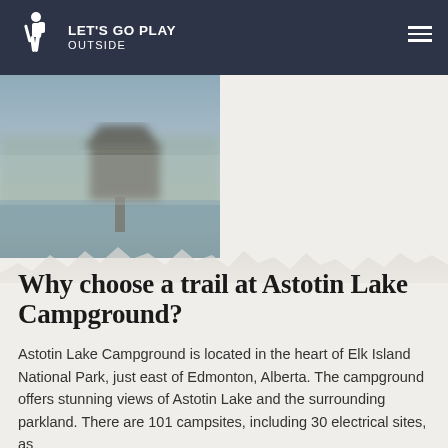LET'S GO PLAY OUTSIDE
[Figure (photo): Blurred outdoor photo showing a lakeside structure/boathouse with misty atmospheric conditions]
Why choose a trail at Astotin Lake Campground?
Astotin Lake Campground is located in the heart of Elk Island National Park, just east of Edmonton, Alberta. The campground offers stunning views of Astotin Lake and the surrounding parkland. There are 101 campsites, including 30 electrical sites, as